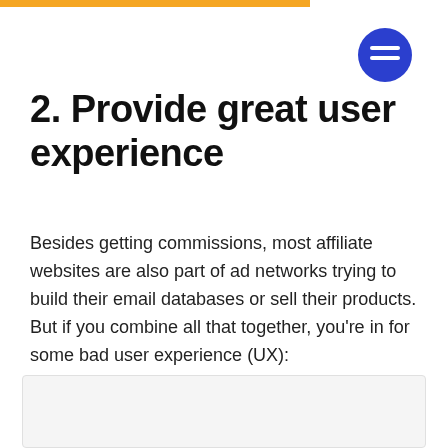2. Provide great user experience
Besides getting commissions, most affiliate websites are also part of ad networks trying to build their email databases or sell their products. But if you combine all that together, you’re in for some bad user experience (UX):
[Figure (other): A light gray placeholder box at the bottom of the page representing an image or content block]